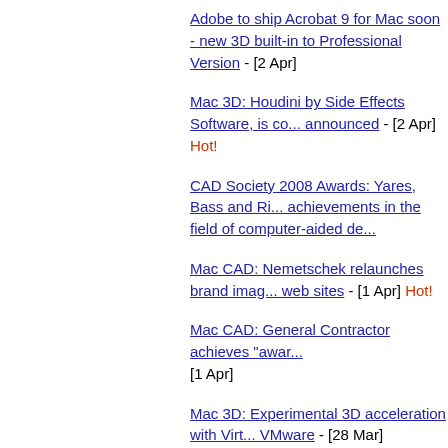Adobe to ship Acrobat 9 for Mac soon - new 3D built-in to Professional Version - [2 Apr]
Mac 3D: Houdini by Side Effects Software, is coming announced - [2 Apr] Hot!
CAD Society 2008 Awards: Yares, Bass and Ri... achievements in the field of computer-aided de...
Mac CAD: Nemetschek relaunches brand imag... web sites - [1 Apr] Hot!
Mac CAD: General Contractor achieves "awar... [1 Apr]
Mac 3D: Experimental 3D acceleration with Virt... VMware - [28 Mar]
Mac BIM: VectorWorks Architect at Residential...
Mac CAD: Odessa's ConceptDraw 7 Adds Exte... Library - [28 Mar]
Mac CAD: CAD Industry to Maintain Solid Grow... [25 Mar] Hot!
Commentary: 3D CAD on iPhone? You Bet! - [2...
Mac BIM: Graphisoft says ArchiCAD START E...